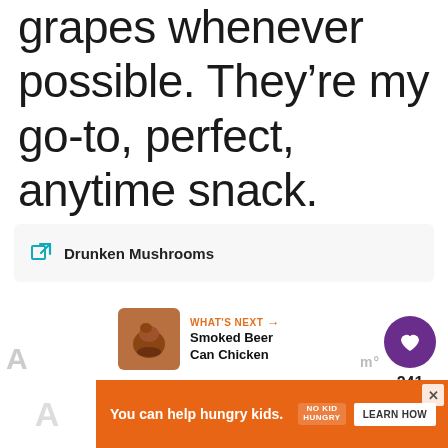grapes whenever possible. They’re my go-to, perfect, anytime snack.
Drunken Mushrooms
241
WHAT’S NEXT → Smoked Beer Can Chicken
You can help hungry kids. NO KID HUNGRY LEARN HOW